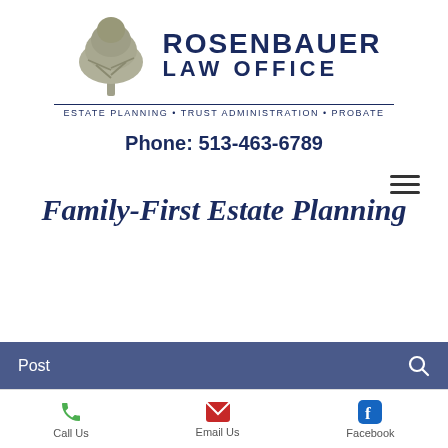[Figure (logo): Rosenbauer Law Office logo with a grey tree illustration and firm name in dark navy blue, with tagline ESTATE PLANNING • TRUST ADMINISTRATION • PROBATE]
Phone: 513-463-6789
Family-First Estate Planning
Post
Call Us
Email Us
Facebook